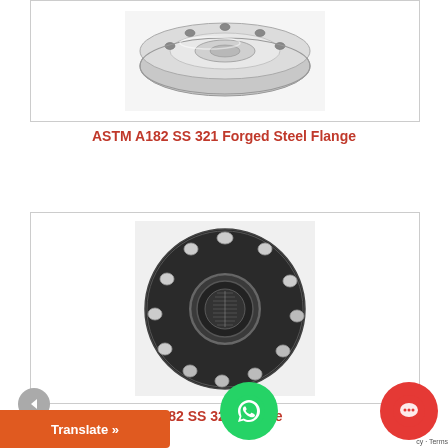[Figure (photo): ASTM A182 SS 321 Forged Steel Flange - silver/metallic disc-shaped forged flange viewed from above/side, showing bolt holes around perimeter]
ASTM A182 SS 321 Forged Steel Flange
[Figure (photo): ASTM A182 SS 321 Forged Steel Flange - dark/black circular flange viewed face-on, showing multiple bolt holes around circumference and threaded center hub]
ASTM A182 SS 321 F... lange